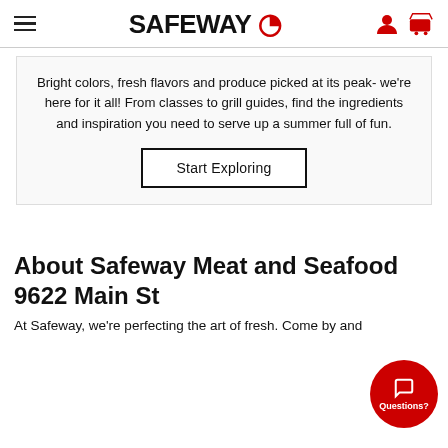SAFEWAY
Bright colors, fresh flavors and produce picked at its peak- we're here for it all! From classes to grill guides, find the ingredients and inspiration you need to serve up a summer full of fun.
Start Exploring
About Safeway Meat and Seafood 9622 Main St
At Safeway, we're perfecting the art of fresh. Come by and